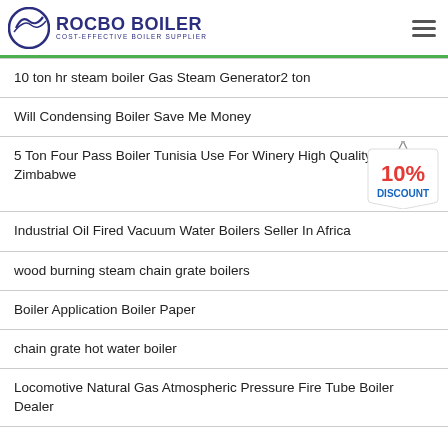ROCBO BOILER — COST-EFFECTIVE BOILER SUPPLIER
10 ton hr steam boiler Gas Steam Generator2 ton
Will Condensing Boiler Save Me Money
5 Ton Four Pass Boiler Tunisia Use For Winery High Quality In Zimbabwe
Industrial Oil Fired Vacuum Water Boilers Seller In Africa
wood burning steam chain grate boilers
Boiler Application Boiler Paper
chain grate hot water boiler
Locomotive Natural Gas Atmospheric Pressure Fire Tube Boiler Dealer